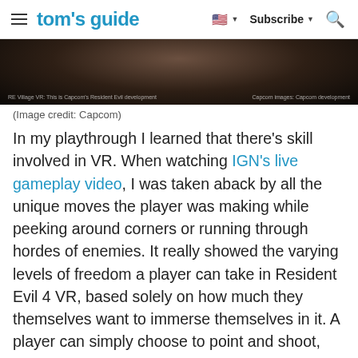tom's guide | Subscribe | Search
[Figure (photo): Dark screenshot from Resident Evil 4 VR gameplay showing a character in a dimly lit environment]
(Image credit: Capcom)
In my playthrough I learned that there's skill involved in VR. When watching IGN's live gameplay video, I was taken aback by all the unique moves the player was making while peeking around corners or running through hordes of enemies. It really showed the varying levels of freedom a player can take in Resident Evil 4 VR, based solely on how much they themselves want to immerse themselves in it. A player can simply choose to point and shoot, like using a television remote. Or the player can hold the handle of the gun with both hands for added stability, making it feel